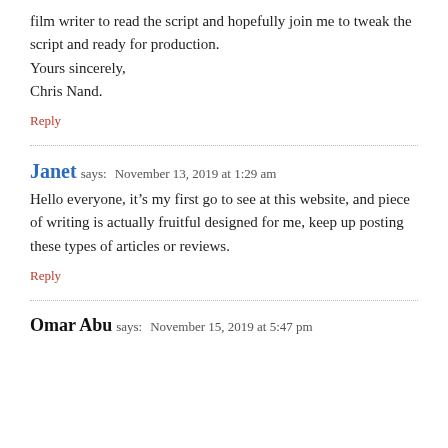film writer to read the script and hopefully join me to tweak the script and ready for production.
Yours sincerely,
Chris Nand.
Reply
Janet says: November 13, 2019 at 1:29 am
Hello everyone, it’s my first go to see at this website, and piece of writing is actually fruitful designed for me, keep up posting these types of articles or reviews.
Reply
Omar Abu says: November 15, 2019 at 5:47 pm